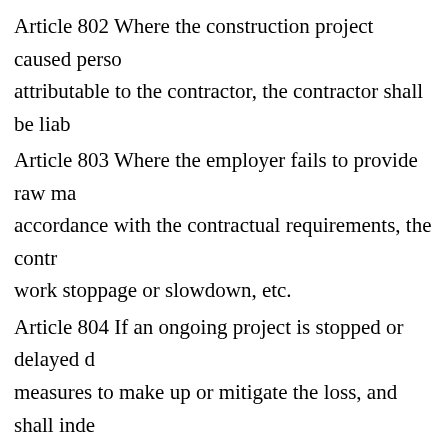Article 802 Where the construction project caused person attributable to the contractor, the contractor shall be liable.
Article 803 Where the employer fails to provide raw materials in accordance with the contractual requirements, the contractor may have work stoppage or slowdown, etc.
Article 804 If an ongoing project is stopped or delayed due to measures to make up or mitigate the loss, and shall indemnify for stoppage, slowdown, reshipment, re-dispatch of machinery.
Article 805 Where in the course of survey or design, any change of plan, the incorrect information provided by it, or prescribed time, the employer shall pay additional fees.
Article 806 Where a contractor assigns the whole or illegally contract.
If a employer furnishes main building materials, building...